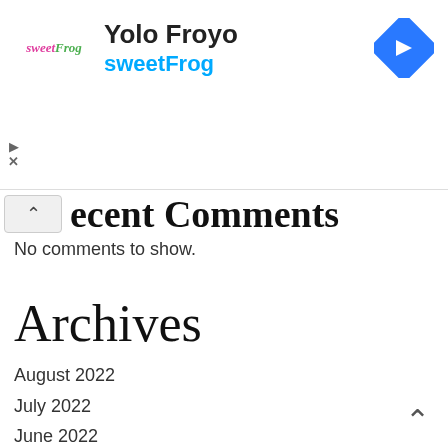[Figure (screenshot): Ad banner for Yolo Froyo sweetFrog with logo, title text 'Yolo Froyo', subtitle 'sweetFrog' in cyan, and a blue diamond navigation icon on the right. Play and close controls on the left.]
Recent Comments
No comments to show.
Archives
August 2022
July 2022
June 2022
May 2022
April 2022
March 2022
February 2022
January 2022
December 2021